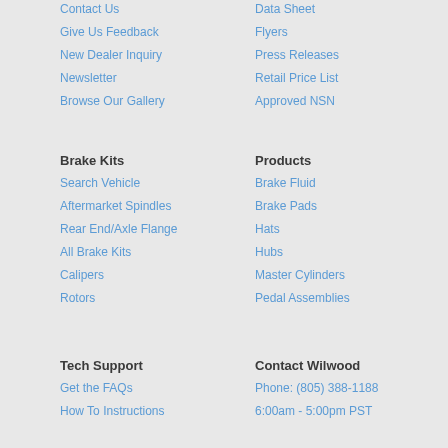Contact Us
Data Sheet
Give Us Feedback
Flyers
New Dealer Inquiry
Press Releases
Newsletter
Retail Price List
Browse Our Gallery
Approved NSN
Brake Kits
Products
Search Vehicle
Brake Fluid
Aftermarket Spindles
Brake Pads
Rear End/Axle Flange
Hats
All Brake Kits
Hubs
Calipers
Master Cylinders
Rotors
Pedal Assemblies
Tech Support
Contact Wilwood
Get the FAQs
Phone: (805) 388-1188
How To Instructions
6:00am - 5:00pm PST